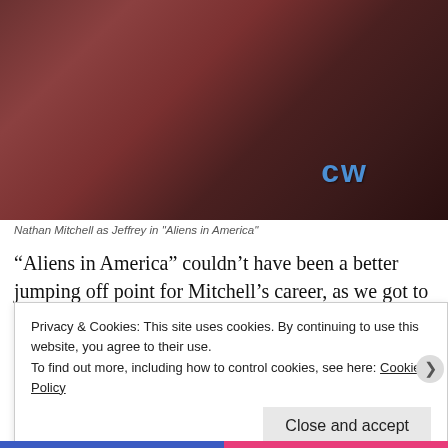[Figure (photo): Nathan Mitchell as Jeffrey in 'Aliens in America' — a young Black man wearing a blue jacket with green collar trim and a CW network logo visible, standing indoors, with a blonde woman partially visible to the left.]
Nathan Mitchell as Jeffrey in "Aliens in America"
“Aliens in America” couldn’t have been a better jumping off point for Mitchell’s career, as we got to see the actor take his character from being a lovable stud to a nonchalant ass hole. Proving his dynamic talent, Mitchell takes the character from
Privacy & Cookies: This site uses cookies. By continuing to use this website, you agree to their use.
To find out more, including how to control cookies, see here: Cookie Policy
Close and accept